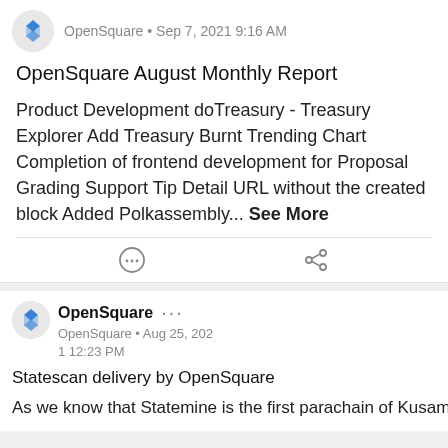OpenSquare • Sep 7, 2021 9:16 AM
OpenSquare August Monthly Report
Product Development doTreasury - Treasury Explorer Add Treasury Burnt Trending Chart Completion of frontend development for Proposal Grading Support Tip Detail URL without the created block Added Polkassembly... See More
OpenSquare • Aug 25, 2021 12:23 PM
Statescan delivery by OpenSquare
As we know that Statemine is the first parachain of Kusama, serveral